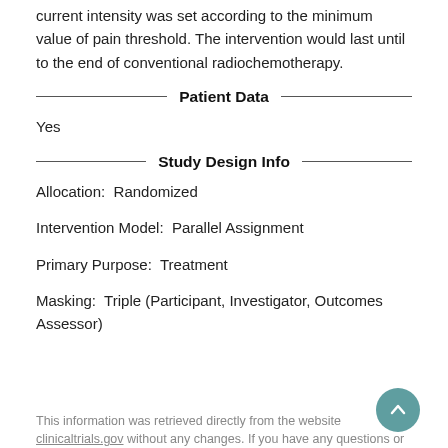current intensity was set according to the minimum value of pain threshold. The intervention would last until to the end of conventional radiochemotherapy.
Patient Data
Yes
Study Design Info
Allocation:  Randomized
Intervention Model:  Parallel Assignment
Primary Purpose:  Treatment
Masking:  Triple (Participant, Investigator, Outcomes Assessor)
This information was retrieved directly from the website clinicaltrials.gov without any changes. If you have any questions or